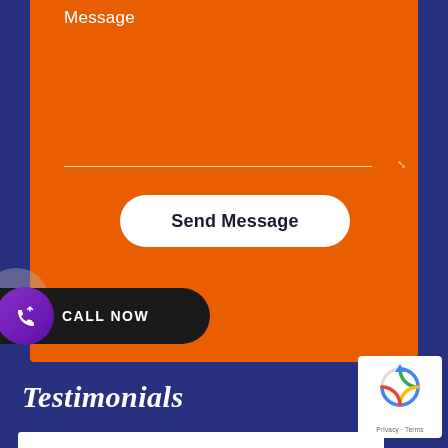Message
[Figure (screenshot): Orange contact form section with a textarea underline and a white rounded 'Send Message' button]
[Figure (other): Dark rounded pill-shaped 'CALL NOW' button with purple WhatsApp icon circle on the left]
Testimonials
[Figure (other): Google reCAPTCHA widget showing the circular arrow logo and 'Privacy - Terms' text]